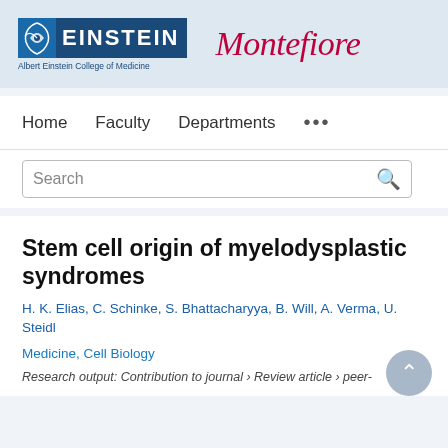[Figure (logo): Albert Einstein College of Medicine and Montefiore institutional logos on a light blue banner]
Home   Faculty   Departments   ...
Search
Stem cell origin of myelodysplastic syndromes
H. K. Elias, C. Schinke, S. Bhattacharyya, B. Will, A. Verma, U. Steidl
Medicine, Cell Biology
Research output: Contribution to journal › Review article › peer-